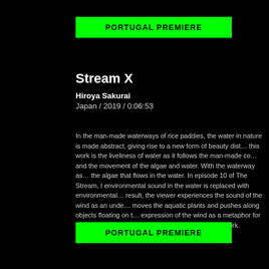PORTUGAL PREMIERE
Stream X
Hiroya Sakurai
Japan / 2019 / 0:06:53
In the man-made waterways of rice paddies, the water in nature is made abstract, giving rise to a new form of beauty distinct from nature. The theme of this work is the liveliness of water as it follows the man-made contours and the movement of the algae and water. With the waterway as a stage, the subject is the algae that flows in the water. In episode 10 of The Stream, the environmental sound in the water is replaced with environmental sound of wind. As a result, the viewer experiences the sound of the wind as an undercurrent that moves the aquatic plants and pushes along objects floating on the water, using the expression of the wind as a metaphor for the stream and to impart the sense of flow which is the theme of this work.
PORTUGAL PREMIERE